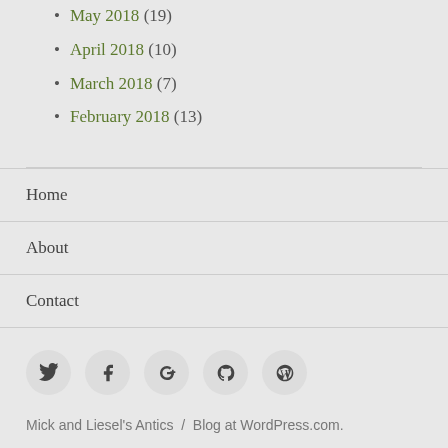May 2018 (19)
April 2018 (10)
March 2018 (7)
February 2018 (13)
Home
About
Contact
[Figure (other): Social media icons: Twitter, Facebook, Google+, GitHub, WordPress]
Mick and Liesel's Antics / Blog at WordPress.com.